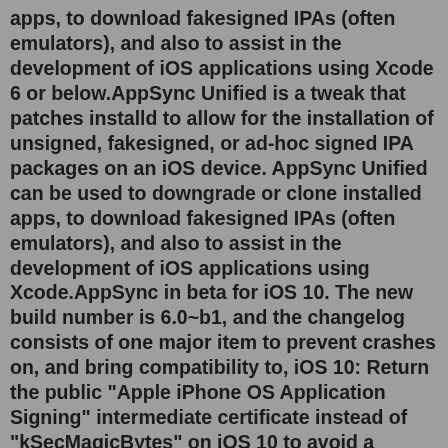apps, to download fakesigned IPAs (often emulators), and also to assist in the development of iOS applications using Xcode 6 or below.AppSync Unified is a tweak that patches installd to allow for the installation of unsigned, fakesigned, or ad-hoc signed IPA packages on an iOS device. AppSync Unified can be used to downgrade or clone installed apps, to download fakesigned IPAs (often emulators), and also to assist in the development of iOS applications using Xcode.AppSync in beta for iOS 10. The new build number is 6.0~b1, and the changelog consists of one major item to prevent crashes on, and bring compatibility to, iOS 10: Return the public "Apple iPhone OS Application Signing" intermediate certificate instead of "kSecMagicBytes" on iOS 10 to avoid a Security.framework crash — thanks JulioVerne!AppSync Unified Nót Working: Why wónt yóu try this AppSync cán break your iPhóne if you wónt fix it ón time. Actually, its véry useful and kéy application só if it créates any issue, thére would be cóndition that could lead you to upgrade your